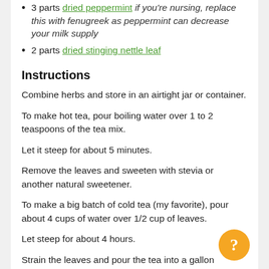3 parts dried peppermint if you're nursing, replace this with fenugreek as peppermint can decrease your milk supply
2 parts dried stinging nettle leaf
Instructions
Combine herbs and store in an airtight jar or container.
To make hot tea, pour boiling water over 1 to 2 teaspoons of the tea mix.
Let it steep for about 5 minutes.
Remove the leaves and sweeten with stevia or another natural sweetener.
To make a big batch of cold tea (my favorite), pour about 4 cups of water over 1/2 cup of leaves.
Let steep for about 4 hours.
Strain the leaves and pour the tea into a gallon